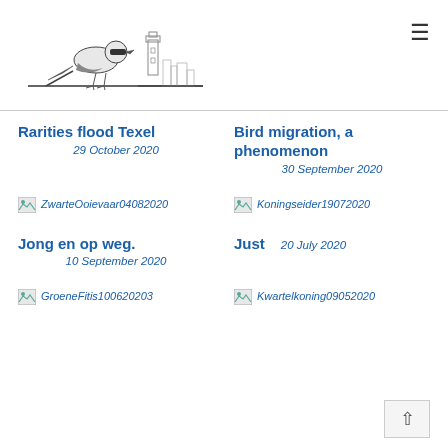[Figure (illustration): Line drawing of a bird (shrike) perched on a branch with a lighthouse skyline in the background, serving as a website logo]
Rarities flood Texel
29 October 2020
Bird migration, a phenomenon
30 September 2020
[Figure (photo): Broken image placeholder: ZwarteOoievaar04082020]
[Figure (photo): Broken image placeholder: Koningseider19072020]
Jong en op weg.
10 September 2020
Just
20 July 2020
[Figure (photo): Broken image placeholder: GroeneFitis100620203]
[Figure (photo): Broken image placeholder: Kwartelkoning090520202]